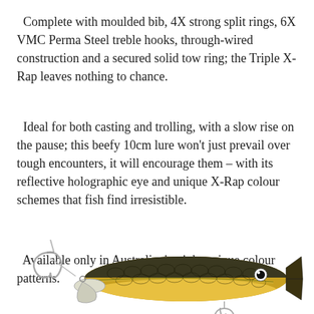Complete with moulded bib, 4X strong split rings, 6X VMC Perma Steel treble hooks, through-wired construction and a secured solid tow ring; the Triple X-Rap leaves nothing to chance.
Ideal for both casting and trolling, with a slow rise on the pause; this beefy 10cm lure won't just prevail over tough encounters, it will encourage them – with its reflective holographic eye and unique X-Rap colour schemes that fish find irresistible.
Available only in Australia, in eight unique colour patterns.
[Figure (photo): A fishing lure (minnow/jerkbait style) with a golden/yellow and dark olive-black scale pattern body, a moulded bib at the front, treble hooks at front and rear, and a holographic eye. Shown on a white background, partially cropped at the bottom of the page.]